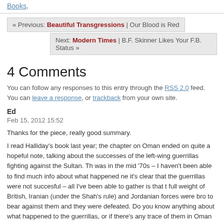Books.
« Previous: Beautiful Transgressions | Our Blood is Red
Next: Modern Times | B.F. Skinner Likes Your F.B. Status »
4 Comments
You can follow any responses to this entry through the RSS 2.0 feed. You can leave a response, or trackback from your own site.
Ed
Feb 15, 2012 15:52
Thanks for the piece, really good summary.
I read Halliday's book last year; the chapter on Oman ended on quite a hopeful note, talking about the successes of the left-wing guerrillas fighting against the Sultan. This was in the mid '70s – I haven't been able to find much info about what happened next, it's clear that the guerrillas were not succesful – all I've been able to gather is that the full weight of British, Iranian (under the Shah's rule) and Jordanian forces were brought to bear against them and they were defeated. Do you know anything about what happened to the guerrillas, or if there's any trace of them in Oman today?